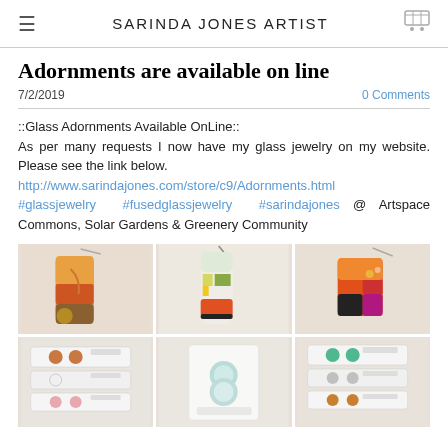SARINDA JONES ARTIST
Adornments are available on line
7/2/2019
0 Comments
::Glass Adornments Available OnLine:: As per many requests I now have my glass jewelry on my website. Please see the link below. http://www.sarindajones.com/store/c9/Adornments.html #glassjewelry #fusedglassjewelry #sarindajones @ Artspace Commons, Solar Gardens & Greenery Community
[Figure (photo): Six photos of glass jewelry pendants and stud earrings arranged in a 3x2 grid. Top row: three fused glass pendant necklaces with colorful abstract patterns. Bottom row: three sets of glass stud earrings on display cards.]